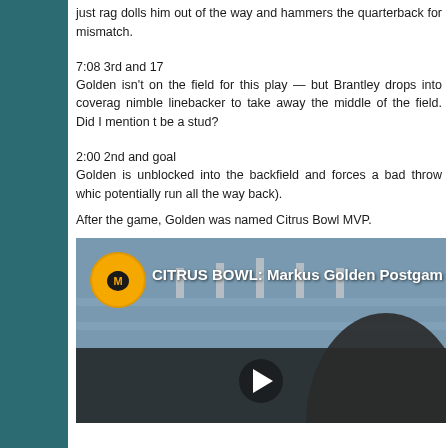just rag dolls him out of the way and hammers the quarterback for mismatch.
7:08 3rd and 17
Golden isn't on the field for this play — but Brantley drops into coverage nimble linebacker to take away the middle of the field. Did I mention t be a stud?
2:00 2nd and goal
Golden is unblocked into the backfield and forces a bad throw which potentially run all the way back).
After the game, Golden was named Citrus Bowl MVP.
[Figure (screenshot): Video thumbnail showing CITRUS BOWL: Markus Golden Postgame interview, with Missouri Tigers logo circle on left and a person in the frame at a stadium]